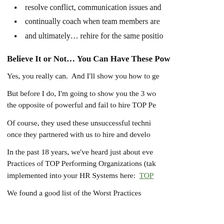resolve conflict, communication issues and
continually coach when team members are
and ultimately... rehire for the same positio
Believe It or Not... You Can Have These Pow
Yes, you really can.  And I'll show you how to ge
But before I do, I'm going to show you the 3 wo the opposite of powerful and fail to hire TOP Pe
Of course, they used these unsuccessful techni once they partnered with us to hire and develo
In the past 18 years, we've heard just about eve Practices of TOP Performing Organizations (tak implemented into your HR Systems here:  TOP
We found a good list of the Worst Practices